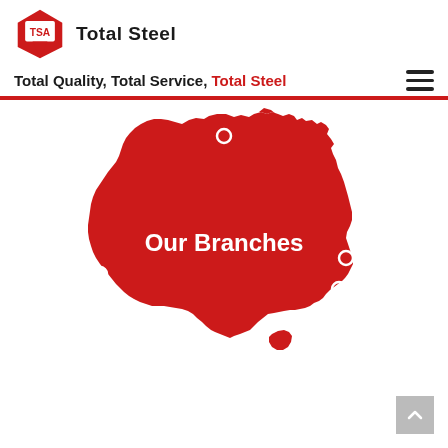[Figure (logo): TSA Total Steel logo with red diamond/shield shape and text 'Total Steel']
Total Quality, Total Service, Total Steel
[Figure (map): Red silhouette map of Australia with white circle markers indicating branch locations and white bold text 'Our Branches' in the center]